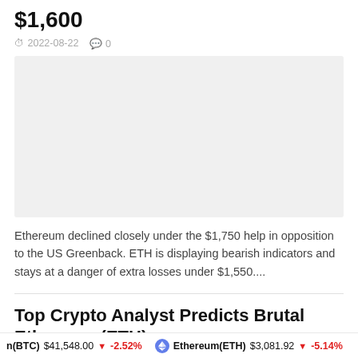$1,600
2022-08-22  0
[Figure (photo): Gray placeholder image area for article thumbnail]
Ethereum declined closely under the $1,750 help in opposition to the US Greenback. ETH is displaying bearish indicators and stays at a danger of extra losses under $1,550....
Top Crypto Analyst Predicts Brutal Ethereum (ETH)
n(BTC) $41,548.00 ↓ -2.52%   Ethereum(ETH) $3,081.92 ↓ -5.14%